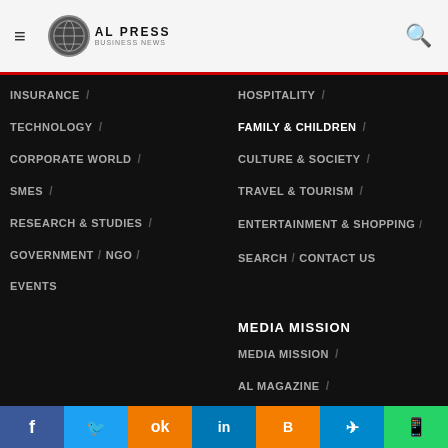AL PRESS — Navigation menu header bar
INSURANCE /
TECHNOLOGY /
CORPORATE WORLD /
SMES /
RESEARCH & STUDIES /
GOVERNMENT / NGO /
EVENTS
HOSPITALITY /
FAMILY & CHILDREN /
CULTURE & SOCIETY /
TRAVEL & TOURISM /
ENTERTAINMENT & SHOPPING /
SEARCH / CONTACT US
MEDIA MISSION
MEDIA MISSION /
AL MAGAZINE /
TECH MISSION /
TRAVEL MISSION /
LAIMOON / SAUDISTERS